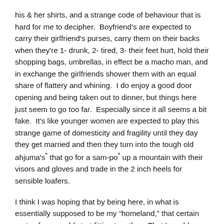his & her shirts, and a strange code of behaviour that is hard for me to decipher.  Boyfriend's are expected to carry their girlfriend's purses, carry them on their backs when they're 1- drunk, 2- tired, 3- their feet hurt, hold their shopping bags, umbrellas, in effect be a macho man, and in exchange the girlfriends shower them with an equal share of flattery and whining.  I do enjoy a good door opening and being taken out to dinner, but things here just seem to go too far.  Especially since it all seems a bit fake.  It's like younger women are expected to play this strange game of domesticity and fragility until they day they get married and then they turn into the tough old ahjuma's* that go for a sam-po* up a mountain with their visors and gloves and trade in the 2 inch heels for sensible loafers.
I think I was hoping that by being here, in what is essentially supposed to be my “homeland,” that certain parts of me would start fitting together.  That I would understand and put together the gaps that have always felt like part of my existence.  But it's